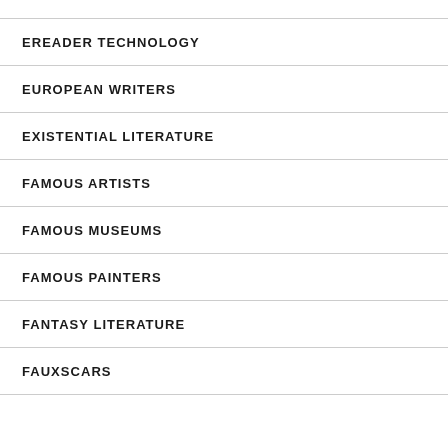EREADER TECHNOLOGY
EUROPEAN WRITERS
EXISTENTIAL LITERATURE
FAMOUS ARTISTS
FAMOUS MUSEUMS
FAMOUS PAINTERS
FANTASY LITERATURE
FAUXSCARS